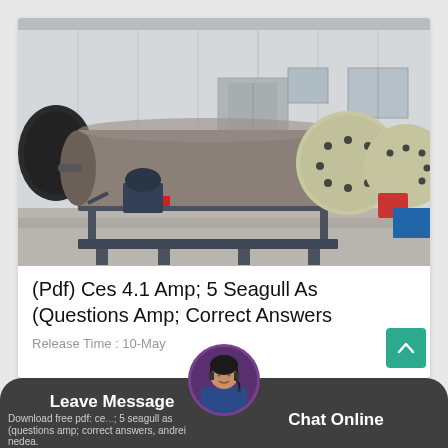[Figure (photo): Industrial equipment yard showing magnetic separator drum on metal frame, with ball mill cylinders visible in the background, in front of a corrugated metal warehouse building.]
(Pdf) Ces 4.1 Amp; 5 Seagull As (Questions Amp; Correct Answers
Release Time : 10-May
Download free pdf: ce... ; 5 seagull as (questions amp; correct answers, andrei nedea.